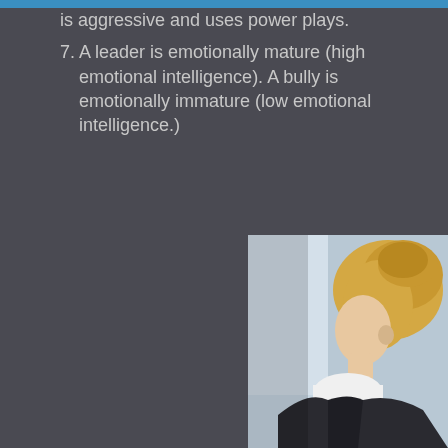is aggressive and uses power plays.
7. A leader is emotionally mature (high emotional intelligence). A bully is emotionally immature (low emotional intelligence.)
[Figure (photo): A blonde woman in a dark blazer and white shirt viewed from behind/side, with a light blue blurred background, suggesting a professional setting.]